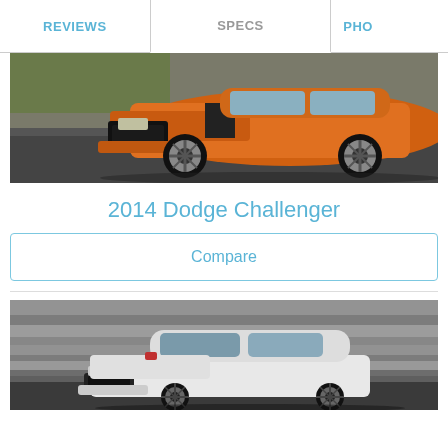REVIEWS | SPECS | PHO...
[Figure (photo): Orange 2014 Dodge Challenger muscle car photographed from the front-left angle on a road, with black wheels and hood stripe]
2014 Dodge Challenger
Compare
[Figure (photo): White sports car (Nissan 370Z or similar) photographed from the front-right angle on a road with motion-blurred background]